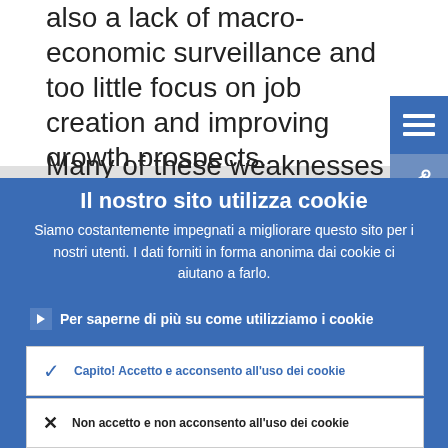also a lack of macro-economic surveillance and too little focus on job creation and improving growth prospects.
Many of these weaknesses are now being
Il nostro sito utilizza cookie
Siamo costantemente impegnati a migliorare questo sito per i nostri utenti. I dati forniti in forma anonima dai cookie ci aiutano a farlo.
Per saperne di più su come utilizziamo i cookie
Capito! Accetto e acconsento all'uso dei cookie
Non accetto e non acconsento all'uso dei cookie